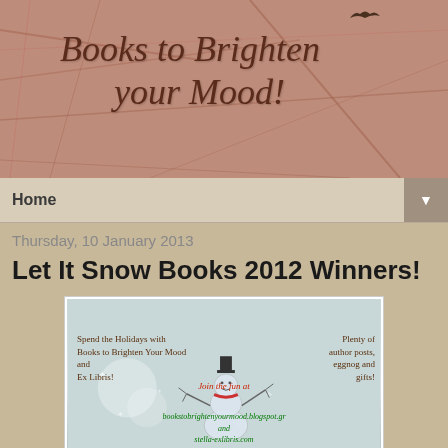[Figure (illustration): Blog banner with crumpled paper texture background in reddish-brown tones, cursive text 'Books to Brighten your Mood!' in dark brown, small bird silhouette top right]
Home ▼
Thursday, 10 January 2013
Let It Snow Books 2012 Winners!
[Figure (illustration): Let it Snow Books 2012 promotional banner. Red cursive title 'Let it Snow Books 2012!' on gray snowy background with snowman. Left text: 'Spend the Holidays with Books to Brighten Your Mood and Ex Libris!' Right text: 'Plenty of author posts, eggnog and gifts!' Bottom: 'Join the fun at bookstobrightenyourmood.blogspot.gr and stella-exlibris.com']